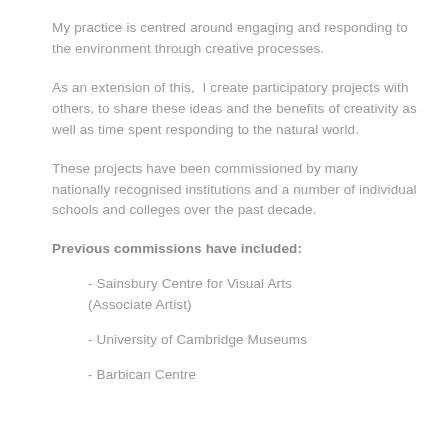My practice is centred around engaging and responding to the environment through creative processes.
As an extension of this,  I create participatory projects with others, to share these ideas and the benefits of creativity as well as time spent responding to the natural world.
These projects have been commissioned by many nationally recognised institutions and a number of individual schools and colleges over the past decade.
Previous commissions have included:
- Sainsbury Centre for Visual Arts (Associate Artist)
- University of Cambridge Museums
- Barbican Centre